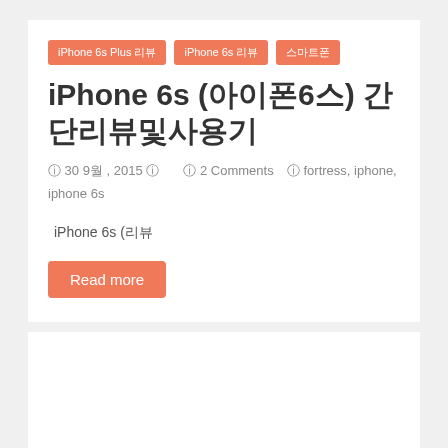iPhone 6s Plus 리뷰 | iPhone 6s 리뷰 | 스마트폰
iPhone 6s (아이폰6s) 간단리뷰및사용기
30 9월, 2015 | 2 Comments | fortress, iphone, iphone 6s
iPhone 6s (리뷰
Read more